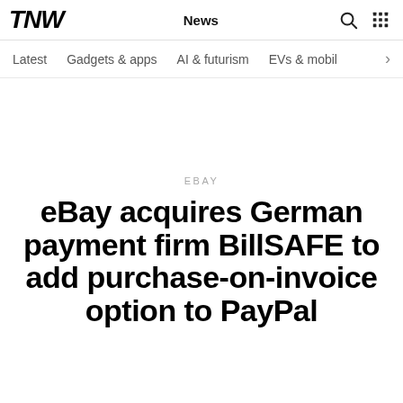TNW | News
Latest | Gadgets & apps | AI & futurism | EVs & mobil
EBAY
eBay acquires German payment firm BillSAFE to add purchase-on-invoice option to PayPal